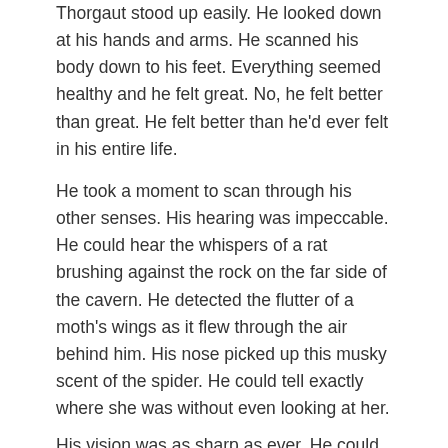Thorgaut stood up easily. He looked down at his hands and arms. He scanned his body down to his feet. Everything seemed healthy and he felt great. No, he felt better than great. He felt better than he'd ever felt in his entire life.
He took a moment to scan through his other senses. His hearing was impeccable. He could hear the whispers of a rat brushing against the rock on the far side of the cavern. He detected the flutter of a moth's wings as it flew through the air behind him. His nose picked up this musky scent of the spider. He could tell exactly where she was without even looking at her.
His vision was as sharp as ever. He could